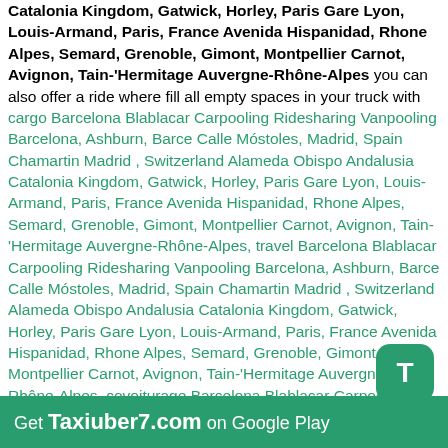Catalonia Kingdom, Gatwick, Horley, Paris Gare Lyon, Louis-Armand, Paris, France Avenida Hispanidad, Rhone Alpes, Semard, Grenoble, Gimont, Montpellier Carnot, Avignon, Tain-'Hermitage Auvergne-Rhône-Alpes you can also offer a ride where fill all empty spaces in your truck with cargo Barcelona Blablacar Carpooling Ridesharing Vanpooling Barcelona, Ashburn, Barce Calle Móstoles, Madrid, Spain Chamartin Madrid , Switzerland Alameda Obispo Andalusia Catalonia Kingdom, Gatwick, Horley, Paris Gare Lyon, Louis-Armand, Paris, France Avenida Hispanidad, Rhone Alpes, Semard, Grenoble, Gimont, Montpellier Carnot, Avignon, Tain-'Hermitage Auvergne-Rhône-Alpes, travel Barcelona Blablacar Carpooling Ridesharing Vanpooling Barcelona, Ashburn, Barce Calle Móstoles, Madrid, Spain Chamartin Madrid , Switzerland Alameda Obispo Andalusia Catalonia Kingdom, Gatwick, Horley, Paris Gare Lyon, Louis-Armand, Paris, France Avenida Hispanidad, Rhone Alpes, Semard, Grenoble, Gimont, Montpellier Carnot, Avignon, Tain-'Hermitage Auvergne-Rhône-Alpes, covoiturage Barcelona Blablacar Carpooling Ridesharing Vanpooling Barcelona, Ashburn, Barce Calle Móstoles, Madrid, Spain Chamartin Madrid , Switzerland Alameda Obispo Andalusia Catalonia Kingdom, Gatwick, Horley, Paris Gare Lyon, Louis-Armand, Paris, France Avenida Hispanidad, Rhone Alpes, Semard, Grenoble, Gimont, Montpellier Carnot, Avignon, Tain-'Hermitage Auvergne-Rhône-Alpes Blablacar Carpooling Ridesharing Vanpooling Barcelona, Ashburn, Barce Calle Móstoles, Madrid,
Get Taxiuber7.com on Google Play